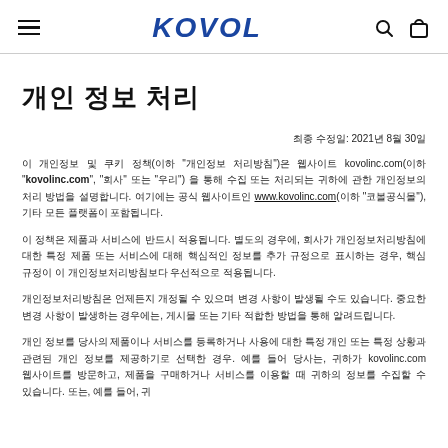KOVOL
개인 정보 처리
최종 수정일: 2021년 8월 30일
이 개인정보 및 쿠키 정책(이하 "개인정보 처리방침")은 웹사이트 kovolinc.com(이하 "kovolinc.com", "회사" 또는 "우리") 을 통해 수집 또는 처리되는 귀하에 관한 개인정보의 처리 방법을 설명합니다. 여기에는 공식 웹사이트인 www.kovolinc.com(이하 "코볼공식몰"), 기타 모든 플랫폼이 포함됩니다.
이 정책은 제품과 서비스에 반드시 적용됩니다. 별도의 경우에, 회사가 개인정보처리방침에 대한 특정 제품 또는 서비스에 대해 핵심적인 정보를 추가 규정으로 표시하는 경우, 핵심 규정이 이 개인정보처리방침보다 우선적으로 적용됩니다.
개인정보처리방침은 언제든지 개정될 수 있으며 변경 사항이 발생될 수도 있습니다. 중요한 변경 사항이 발생하는 경우에는, 게시물 또는 기타 적합한 방법을 통해 알려드립니다.
개인 정보를 당사의 제품이나 서비스를 등록하거나 사용에 대한 특정 개인 또는 특정 상황과 관련된 개인 정보를 제공하기로 선택한 경우. 예를 들어 당사는, 귀하가 kovolinc.com 웹사이트를 방문하고, 제품을 구매하거나 서비스를 이용할 때 귀하의 정보를 수집할 수 있습니다. 또는, 예를 들어, 귀